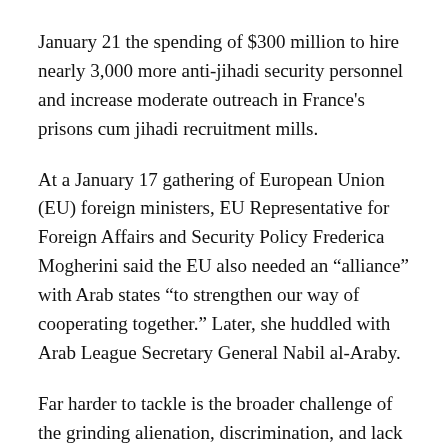January 21 the spending of $300 million to hire nearly 3,000 more anti-jihadi security personnel and increase moderate outreach in France's prisons cum jihadi recruitment mills.
At a January 17 gathering of European Union (EU) foreign ministers, EU Representative for Foreign Affairs and Security Policy Frederica Mogherini said the EU also needed an “alliance” with Arab states “to strengthen our way of cooperating together.” Later, she huddled with Arab League Secretary General Nabil al-Araby.
Far harder to tackle is the broader challenge of the grinding alienation, discrimination, and lack of opportunity facing young European Muslims. Shortly after 9/11 while in Europe on official business, I heard (along with expressions of